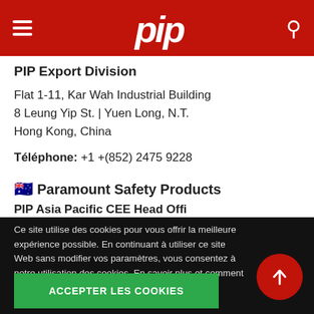PIP [logo]
PIP Export Division
Flat 1-11, Kar Wah Industrial Building
8 Leung Yip St. | Yuen Long, N.T.
Hong Kong, China
Téléphone: +1 +(852) 2475 9228
🇦🇺 Paramount Safety Products
PIP Asia Pacific CEE Head Offi...
Ce site utilise des cookies pour vous offrir la meilleure expérience possible. En continuant à utiliser ce site Web sans modifier vos paramètres, vous consentez à notre utilisation des cookies. En savoir plus et comment gérer vos paramètres. Plus d'information
ACCEPTER LES COOKIES